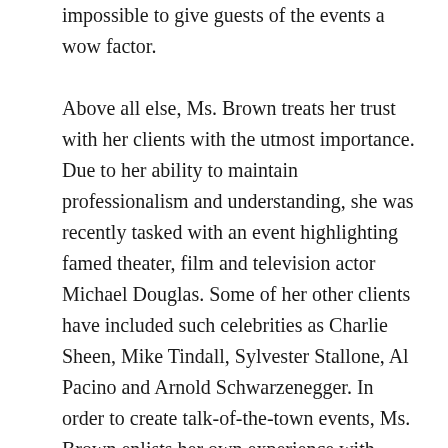impossible to give guests of the events a wow factor.

Above all else, Ms. Brown treats her trust with her clients with the utmost importance. Due to her ability to maintain professionalism and understanding, she was recently tasked with an event highlighting famed theater, film and television actor Michael Douglas. Some of her other clients have included such celebrities as Charlie Sheen, Mike Tindall, Sylvester Stallone, Al Pacino and Arnold Schwarzenegger. In order to create talk-of-the-town events, Ms. Brown enlists her own experience with being in the spotlight. Ms. Brown is a former international show-jumper who has won numerous championships. She represented Great Britain in the Nations Cup 13